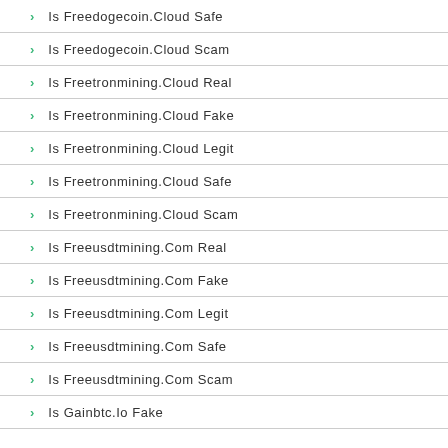Is Freedogecoin.Cloud Safe
Is Freedogecoin.Cloud Scam
Is Freetronmining.Cloud Real
Is Freetronmining.Cloud Fake
Is Freetronmining.Cloud Legit
Is Freetronmining.Cloud Safe
Is Freetronmining.Cloud Scam
Is Freeusdtmining.Com Real
Is Freeusdtmining.Com Fake
Is Freeusdtmining.Com Legit
Is Freeusdtmining.Com Safe
Is Freeusdtmining.Com Scam
Is Gainbtc.Io Fake